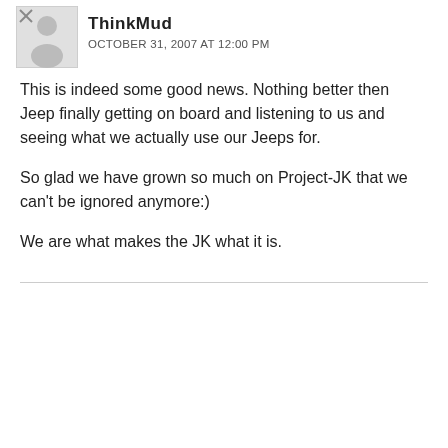ThinkMud
OCTOBER 31, 2007 AT 12:00 PM
This is indeed some good news. Nothing better then Jeep finally getting on board and listening to us and seeing what we actually use our Jeeps for.
So glad we have grown so much on Project-JK that we can't be ignored anymore:)
We are what makes the JK what it is.